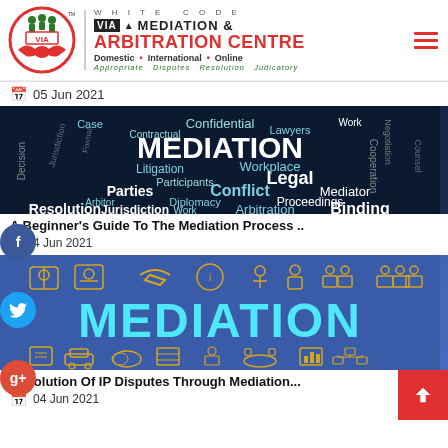[Figure (logo): White Code VIA Mediation & Arbitration Centre logo with circular emblem, company name, and tagline: Domestic, International, Online. Appropriate Disputes Resolution Judicatory.]
📅 05 Jun 2021
[Figure (illustration): Word cloud image on dark navy background with legal/mediation terms: MEDIATION (large, white), Case, Confidential, Work, Contractual, Lawyers, Litigation, Workplace, Participants, Legal, Parties, Conflict, Mediator, Arbitor, Diplomacy, Proceedings, Resolution, Work, Arbitration, Jurisdiction, Binding, Decision, Formal, etc.]
A Beginner's Guide To The Mediation Process ..
📅 4 Jun 2021
[Figure (illustration): Blue background image with large cyan text 'MEDIATION' and surrounding orange/gold outline icons depicting various dispute resolution concepts: handshake, people, documents, scales, etc.]
Resolution Of IP Disputes Through Mediation...
📅 04 Jun 2021